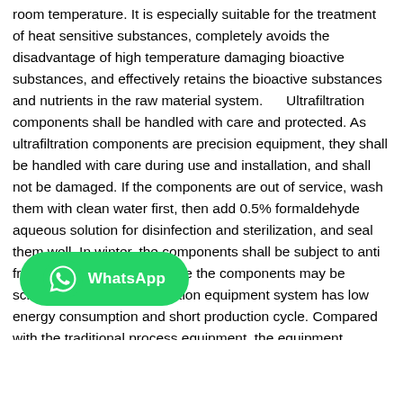room temperature. It is especially suitable for the treatment of heat sensitive substances, completely avoids the disadvantage of high temperature damaging bioactive substances, and effectively retains the bioactive substances and nutrients in the raw material system.      Ultrafiltration components shall be handled with care and protected. As ultrafiltration components are precision equipment, they shall be handled with care during use and installation, and shall not be damaged. If the components are out of service, wash them with clean water first, then add 0.5% formaldehyde aqueous solution for disinfection and sterilization, and seal them well. In winter, the components shall be subject to anti freezing treatment, otherwise the components may be scrapped.      The ultrafiltration equipment system has low energy consumption and short production cycle. Compared with the traditional process equipment, the equipment operation cost is low, which can effectively reduce the production cost and improve the economic benefits of the enterprise.      Ultrafiltration te...s of simple operation, low cost, no need to add any chemical reagent, especially the experimental conditions of ultrafiltration
[Figure (other): WhatsApp button overlay with logo and text 'WhatsApp']